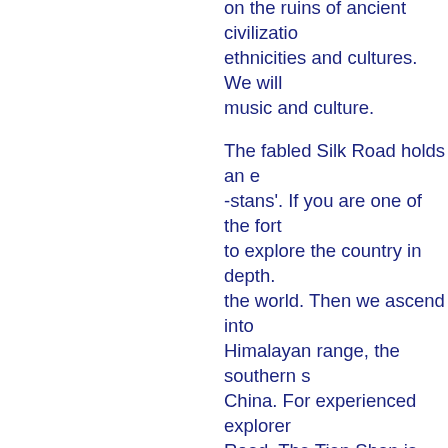on the ruins of ancient civilizations, ethnicities and cultures. We will music and culture.
The fabled Silk Road holds an e -stans'. If you are one of the fort to explore the country in depth. the world. Then we ascend into Himalayan range, the southern s China. For experienced explorer Road. The Tien Shan is one of t Brother, and from the China side scare you though. Read on.
We are scheduling our tour date Nowruz, called Nawruz in Centra equinox, the first day of spring a inspired New Year. Make your p with us next year in Bishkek!
Yuri Boyanin, our guide, has a P Kyrgyz history. He's traveled, nu of Kyrgyzstan and every corner traveled to 116 other countries o the Royal Geographical Society